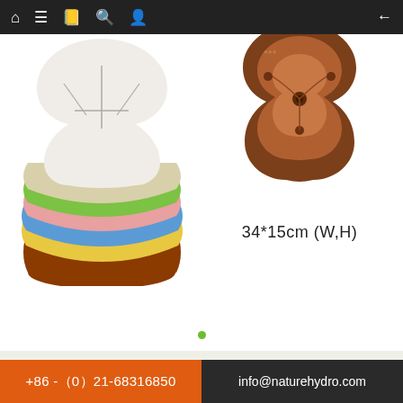Navigation bar with home, menu, book, search, user icons and back arrow
[Figure (photo): Stack of colorful trefoil/clover-shaped plastic plant pots in multiple colors: white, cream, green, pink, blue, yellow, brown/red]
[Figure (photo): Single brown/terracotta trefoil-shaped plastic plant pot viewed from above showing interior structure and drainage hole]
34*15cm (W,H)
+86 -（0）21-68316850   info@naturehydro.com